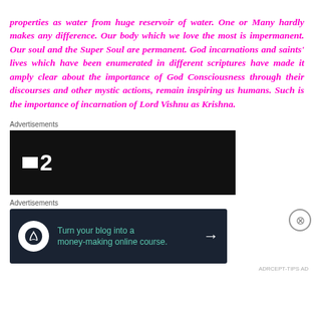properties as water from huge reservoir of water. One or Many hardly makes any difference. Our body which we love the most is impermanent. Our soul and the Super Soul are permanent. God incarnations and saints' lives which have been enumerated in different scriptures have made it amply clear about the importance of God Consciousness through their discourses and other mystic actions, remain inspiring us humans. Such is the importance of incarnation of Lord Vishnu as Krishna.
Advertisements
[Figure (screenshot): Dark advertisement banner with white logo showing a square and the number 2, resembling a TV channel logo on black background]
Advertisements
[Figure (screenshot): Dark navy advertisement banner with circle icon and text: Turn your blog into a money-making online course. with arrow button]